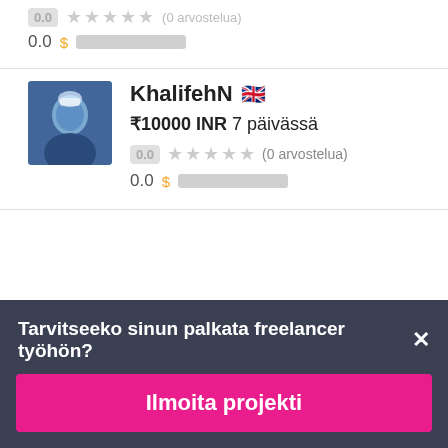0.0 $ [redacted]
KhalifehN 🇬🇧 ₹10000 INR 7 päivässä 0.0 (0 arvostelua) 0.0 $ [redacted]
Tarvitseeko sinun palkata freelancer työhön? ✕
Ilmoita projekti